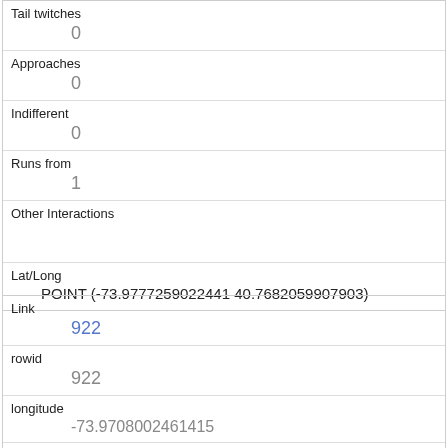| Tail twitches | 0 |
| Approaches | 0 |
| Indifferent | 0 |
| Runs from | 1 |
| Other Interactions |  |
| Lat/Long | POINT (-73.9777259022441 40.7682059907903) |
| Link | 922 |
| rowid | 922 |
| longitude | -73.9708002461415 |
| latitude | 40.7726685284831 |